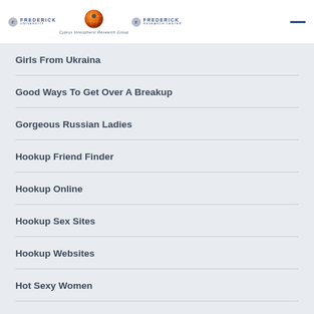Frederick University / Frederick Research Center — Cyprus Ionospheric Research Group
Girls From Ukraina
Good Ways To Get Over A Breakup
Gorgeous Russian Ladies
Hookup Friend Finder
Hookup Online
Hookup Sex Sites
Hookup Websites
Hot Sexy Women